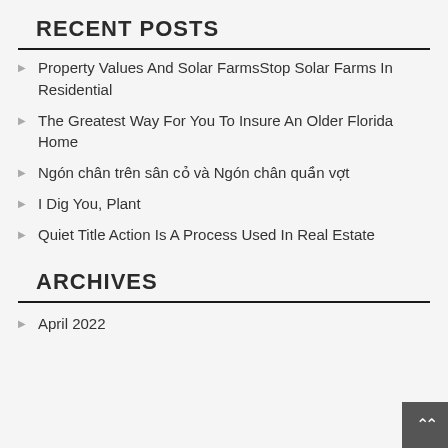RECENT POSTS
Property Values And Solar FarmsStop Solar Farms In Residential
The Greatest Way For You To Insure An Older Florida Home
Ngón chân trên sân cỏ và Ngón chân quần vợt
I Dig You, Plant
Quiet Title Action Is A Process Used In Real Estate
ARCHIVES
April 2022